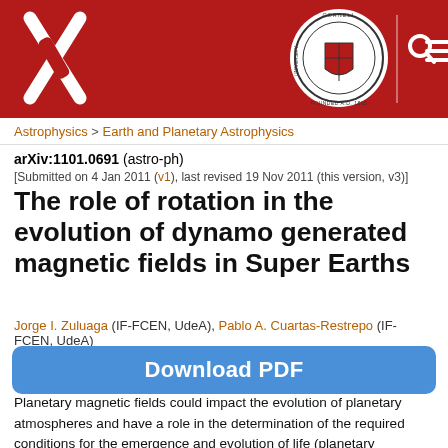[Figure (logo): arXiv logo (white X with lines on red background) and Cornell University seal on red header bar with search and menu icons]
Astrophysics > Earth and Planetary Astrophysics
arXiv:1101.0691 (astro-ph)
[Submitted on 4 Jan 2011 (v1), last revised 19 Nov 2011 (this version, v3)]
The role of rotation in the evolution of dynamo generated magnetic fields in Super Earths
Jorge I. Zuluaga (IF-FCEN, UdeA), Pablo A. Cuartas-Restrepo (IF-FCEN, UdeA)
Download PDF
Planetary magnetic fields could impact the evolution of planetary atmospheres and have a role in the determination of the required conditions for the emergence and evolution of life (planetary habitability). We study here the role of rotation in the evolution of dynamo-generated magnetic fields in massive earth-like planets, Super Earths (1-10 M_\oplus). Using the most recent thermal